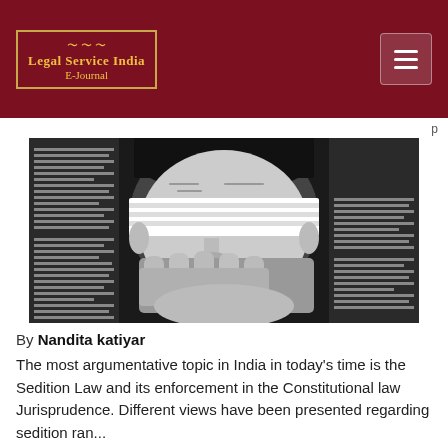Legal Service India E-Journal
[Figure (illustration): Black and white illustration of a person's face with eyes covered by a blindfold and mouth covered by a hand, surrounded by newspaper clippings, symbolizing censorship and sedition.]
By Nandita katiyar
The most argumentative topic in India in today's time is the Sedition Law and its enforcement in the Constitutional law Jurisprudence. Different views have been presented regarding sedition ran...